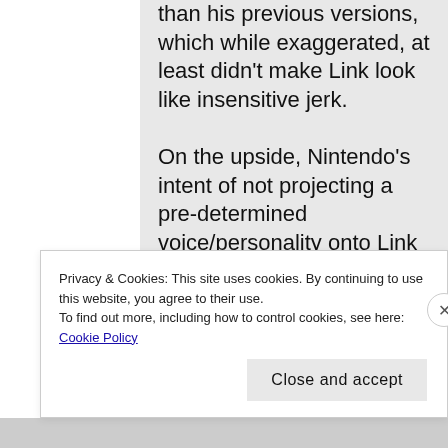than his previous versions, which while exaggerated, at least didn't make Link look like insensitive jerk.

On the upside, Nintendo's intent of not projecting a pre-determined voice/personality onto Link means we'll
Privacy & Cookies: This site uses cookies. By continuing to use this website, you agree to their use.
To find out more, including how to control cookies, see here: Cookie Policy